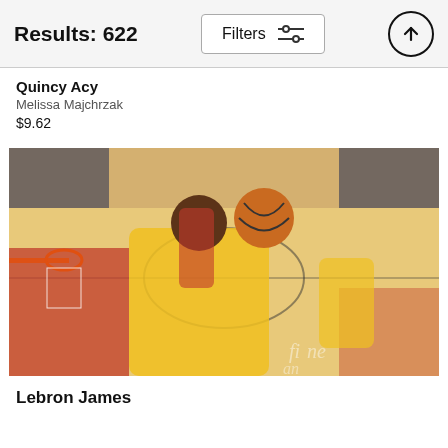Results: 622
Quincy Acy
Melissa Majchrzak
$9.62
[Figure (photo): NBA basketball action photo showing a Lakers player (LeBron James) dunking at the rim in a game against the Chicago Bulls, with teammates visible in the background]
Lebron James